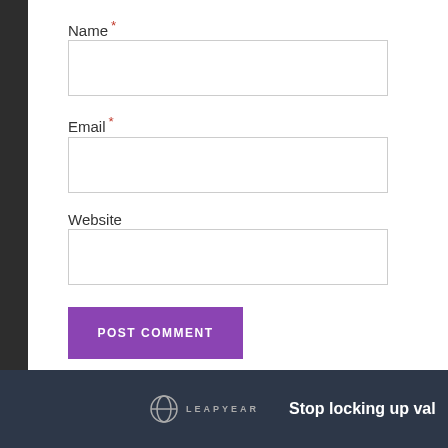Name *
Email *
Website
POST COMMENT
Stop locking up val